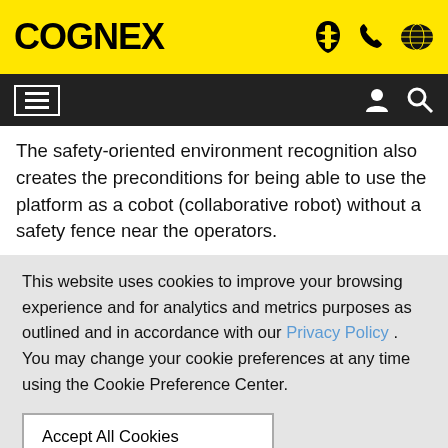COGNEX
The safety-oriented environment recognition also creates the preconditions for being able to use the platform as a cobot (collaborative robot) without a safety fence near the operators.
This website uses cookies to improve your browsing experience and for analytics and metrics purposes as outlined and in accordance with our Privacy Policy . You may change your cookie preferences at any time using the Cookie Preference Center.
Accept All Cookies
Cookie Preference Center